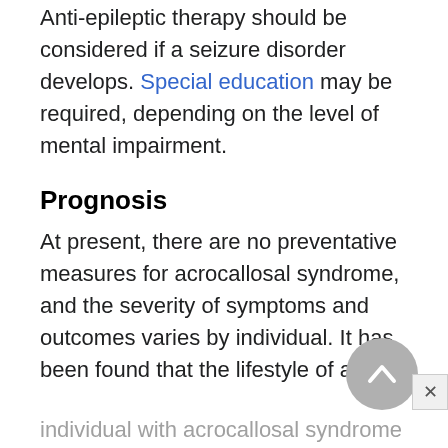Anti-epileptic therapy should be considered if a seizure disorder develops. Special education may be required, depending on the level of mental impairment.
Prognosis
At present, there are no preventative measures for acrocallosal syndrome, and the severity of symptoms and outcomes varies by individual. It has been found that the lifestyle of an individual with acrocallosal syndrome